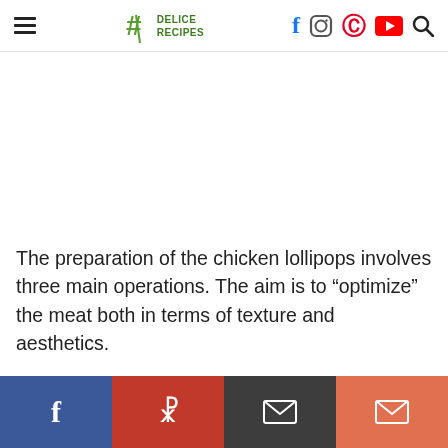# DELICE RECIPES — social navigation header with hamburger menu and icons: Facebook, Instagram, Pinterest, YouTube, Search
[Figure (other): Blank white advertisement placeholder area]
The preparation of the chicken lollipops involves three main operations. The aim is to “optimize” the meat both in terms of texture and aesthetics.
Social share buttons: Facebook, Pinterest, Message, Mail